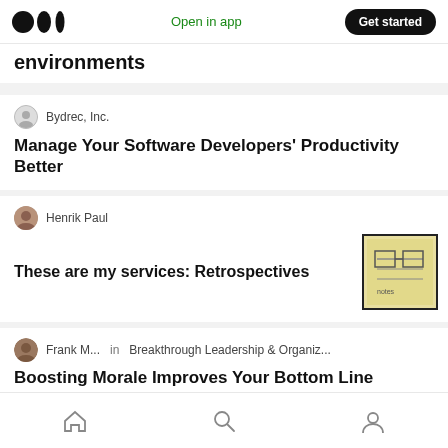Medium app header with logo, Open in app, Get started
environments
Bydrec, Inc.
Manage Your Software Developers' Productivity Better
Henrik Paul
These are my services: Retrospectives
[Figure (photo): Thumbnail image of a sticky note with handwritten diagrams]
Frank M... in Breakthrough Leadership & Organiz...
Boosting Morale Improves Your Bottom Line
Hwee Lin Yeo, Alexandra in TeamoCard
[Figure (screenshot): Colorful thumbnail with blue and orange tiles]
Home | Search | Profile navigation icons